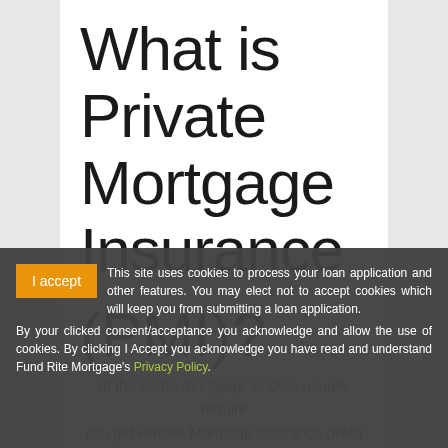What is Private Mortgage Insurance (PMI)?
This site uses cookies to process your loan application and other features. You may elect not to accept cookies which will keep you from submitting a loan application. By your clicked consent/acceptance you acknowledge and allow the use of cookies. By clicking I Accept you acknowledge you have read and understand Fund Rite Mortgage's Privacy Policy.
of the home mortgage lenders usually require you get Private Mortgage Insurance (PMI) to